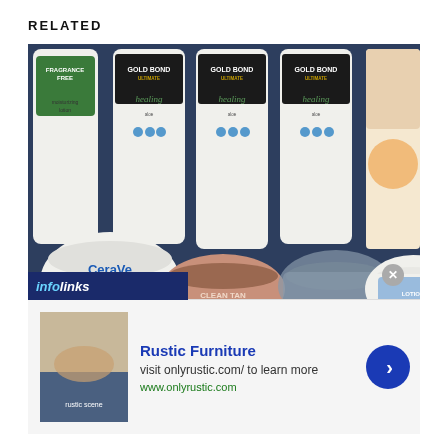RELATED
[Figure (photo): Overhead flat-lay photo of various skincare and lotion products on a dark blue surface, including CeraVe Moisturizing Cream jar, multiple Gold Bond Ultimate healing lotion bottles, a CeraVe fragrance free bottle, a CLEAN TAN compact, a clear glass jar, a Peppermint Cracked Heel Treatment tin, a Lotion Magic container, and several small sample tubes in various colors.]
infolinks
Rustic Furniture
visit onlyrustic.com/ to learn more
www.onlyrustic.com